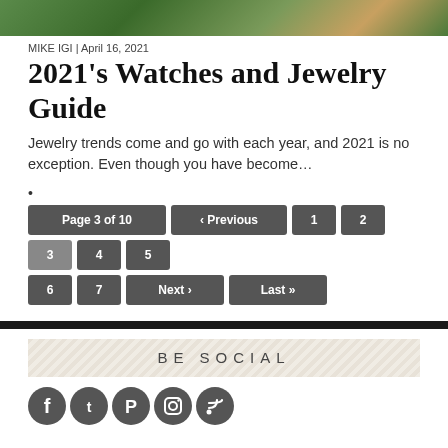[Figure (photo): Cropped top portion of a photo showing jewelry or nature with green and gold tones]
MIKE IGI | April 16, 2021
2021's Watches and Jewelry Guide
Jewelry trends come and go with each year, and 2021 is no exception. Even though you have become...
•
Page 3 of 10 ‹ Previous 1 2 3 4 5 6 7 Next › Last »
BE SOCIAL
[Figure (illustration): Social media icons: Facebook, Twitter, Pinterest, Instagram, RSS feed]